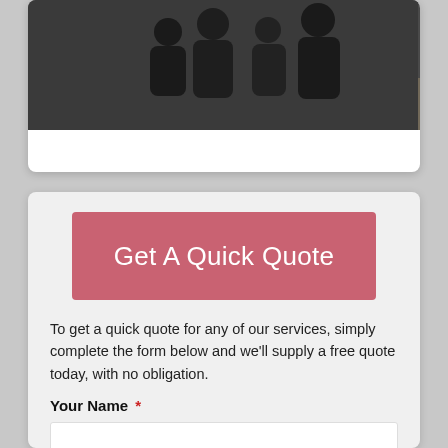[Figure (screenshot): Video thumbnail banner showing silhouettes of people with overlay text 'Watch How We Can Help You...']
Get A Quick Quote
To get a quick quote for any of our services, simply complete the form below and we'll supply a free quote today, with no obligation.
Your Name *